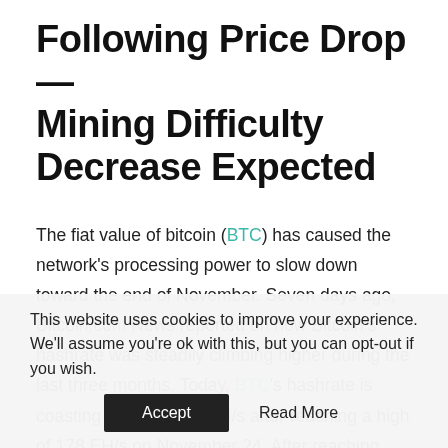Following Price Drop — Mining Difficulty Decrease Expected
The fiat value of bitcoin (BTC) has caused the network's processing power to slow down toward the end of November. Seven days ago, Bitcoin.com News reported on how Bitcoin's hashrate was steadily climbing higher during the last three months. Today, BTC's hashrate is coasting along at 168 EH/s after reaching a high of 178 EH/s on November 24. After reaching that high,
This website uses cookies to improve your experience. We'll assume you're ok with this, but you can opt-out if you wish.
Accept   Read More